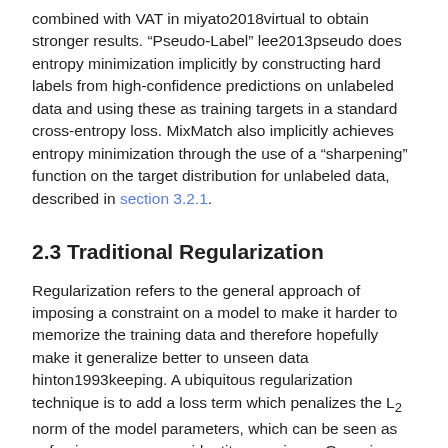combined with VAT in miyato2018virtual to obtain stronger results. “Pseudo-Label” lee2013pseudo does entropy minimization implicitly by constructing hard labels from high-confidence predictions on unlabeled data and using these as training targets in a standard cross-entropy loss. MixMatch also implicitly achieves entropy minimization through the use of a “sharpening” function on the target distribution for unlabeled data, described in section 3.2.1.
2.3 Traditional Regularization
Regularization refers to the general approach of imposing a constraint on a model to make it harder to memorize the training data and therefore hopefully make it generalize better to unseen data hinton1993keeping. A ubiquitous regularization technique is to add a loss term which penalizes the L₂ norm of the model parameters, which can be seen as enforcing a zero-mean identity-covariance Gaussian prior on the weight values hinton1993keeping. When using simple gradient descent, this loss term is equivalent to exponentially decaying the weight values towards zero. Since we are using Adam as our gradient optimizer, we use explicit “weight decay” rather than an L₂